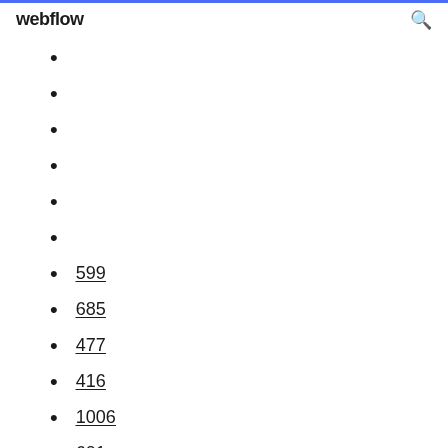webflow
599
685
477
416
1006
601